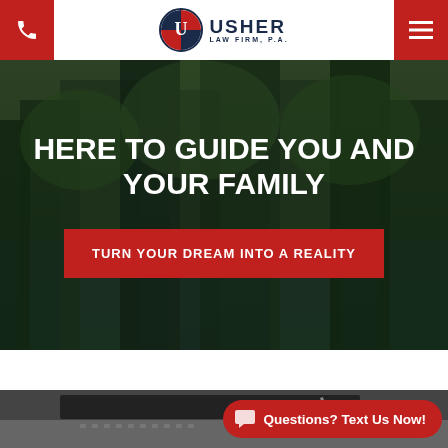Usher Law Firm, P.A.
HERE TO GUIDE YOU AND YOUR FAMILY
TURN YOUR DREAM INTO A REALITY
[Figure (photo): Forest/nature background for hero section]
[Figure (photo): Laptop on desk, partially visible at bottom of page]
Questions? Text Us Now!